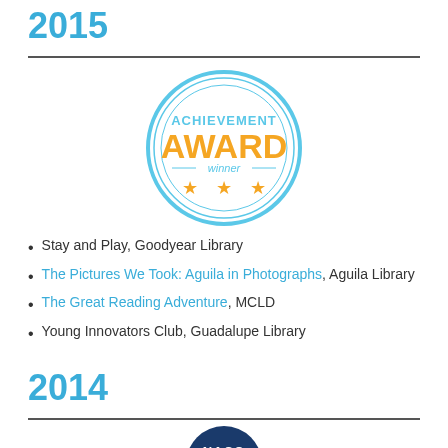2015
[Figure (logo): Achievement Award winner badge — circular badge with double light-blue ring border, text 'ACHIEVEMENT' in light-blue uppercase, 'AWARD' in large orange uppercase, 'winner' in small light-blue italic, and three gold stars below]
Stay and Play, Goodyear Library
The Pictures We Took: Aguila in Photographs, Aguila Library
The Great Reading Adventure, MCLD
Young Innovators Club, Guadalupe Library
2014
[Figure (logo): NACo (National Association of Counties) award badge — dark navy blue circular badge, partially visible, showing 'NACO' text at top]